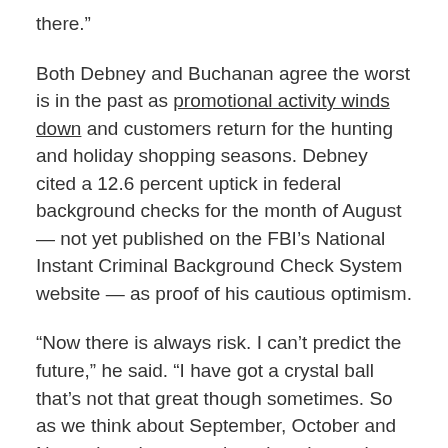there.”
Both Debney and Buchanan agree the worst is in the past as promotional activity winds down and customers return for the hunting and holiday shopping seasons. Debney cited a 12.6 percent uptick in federal background checks for the month of August — not yet published on the FBI’s National Instant Criminal Background Check System website — as proof of his cautious optimism.
“Now there is always risk. I can’t predict the future,” he said. “I have got a crystal ball that’s not that great though sometimes. So as we think about September, October and November, those are three key data points for adjusted NICS checks that will really tell us the strength of the return of the shopper.”
In the meantime, Debney says AOBC will focus on a slew of new product launches planned for the next